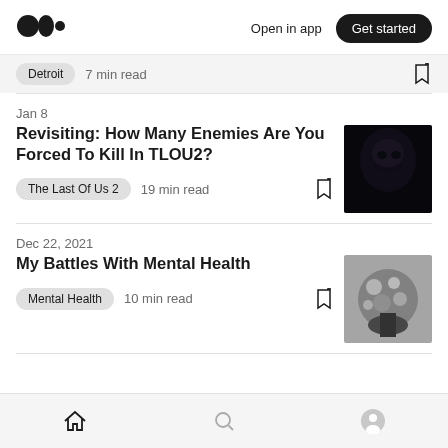Medium logo | Open in app | Get started
Detroit  7 min read
Jan 8
Revisiting: How Many Enemies Are You Forced To Kill In TLOU2?
The Last Of Us 2  19 min read
Dec 22, 2021
My Battles With Mental Health
Mental Health  10 min read
Home | Search | Profile